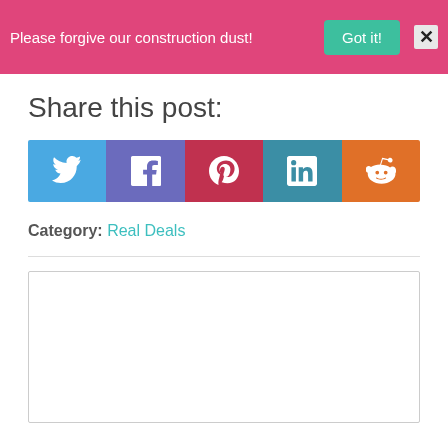Please forgive our construction dust! Got it! X
Share this post:
[Figure (infographic): Social sharing buttons row: Twitter (blue), Facebook (purple), Pinterest (red), LinkedIn (teal), Reddit (orange)]
Category: Real Deals
[Figure (other): Empty white box with border, likely an ad or comment area]